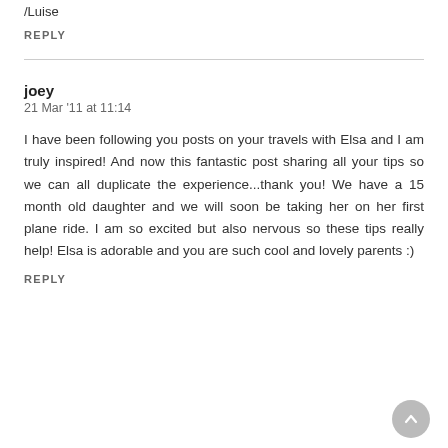/Luise
REPLY
joey
21 Mar '11 at 11:14
I have been following you posts on your travels with Elsa and I am truly inspired! And now this fantastic post sharing all your tips so we can all duplicate the experience...thank you! We have a 15 month old daughter and we will soon be taking her on her first plane ride. I am so excited but also nervous so these tips really help! Elsa is adorable and you are such cool and lovely parents :)
REPLY